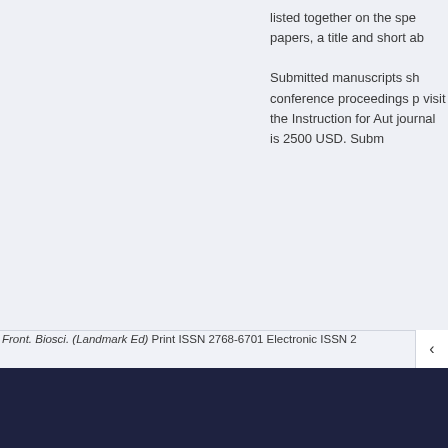listed together on the spe papers, a title and short ab
Submitted manuscripts sh conference proceedings p visit the Instruction for Aut journal is 2500 USD. Subm
Front. Biosci. (Landmark Ed) Print ISSN 2768-6701 Electronic ISSN 2
We use cookies on our website to ensure you best experience. Read more about our cookies here